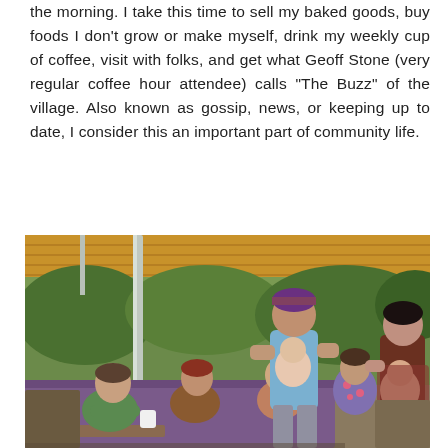the morning. I take this time to sell my baked goods, buy foods I don't grow or make myself, drink my weekly cup of coffee, visit with folks, and get what Geoff Stone (very regular coffee hour attendee) calls "The Buzz" of the village. Also known as gossip, news, or keeping up to date, I consider this an important part of community life.
[Figure (photo): Outdoor community gathering under a yellow awning/canopy. Several people are socializing around a picnic table with a purple tablecloth. A man in a green shirt sits at the table with a coffee cup. A woman in brown sits next to him. An older woman with glasses sits across. A man in a blue tank top stands holding a baby. Another person in a floral dress stands nearby. A woman on the right holds a baby in a carrier/wrap. Trees and greenery are visible in the background.]